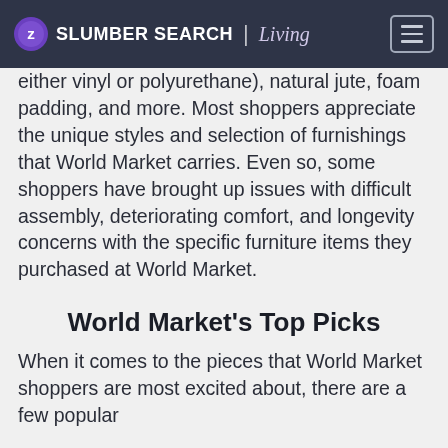SLUMBER SEARCH | Living
either vinyl or polyurethane), natural jute, foam padding, and more. Most shoppers appreciate the unique styles and selection of furnishings that World Market carries. Even so, some shoppers have brought up issues with difficult assembly, deteriorating comfort, and longevity concerns with the specific furniture items they purchased at World Market.
World Market's Top Picks
When it comes to the pieces that World Market shoppers are most excited about, there are a few popular